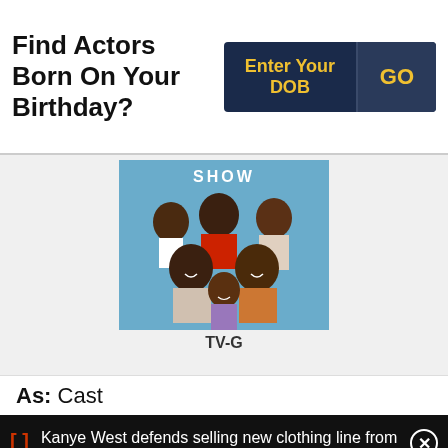Find Actors Born On Your Birthday?
Enter Your DOB
GO
[Figure (photo): TV show cast photo showing a group of people posing together, with 'SHOW' visible at top, on a blue background]
TV-G
As: Cast
Kanye West defends selling new clothing line from construction bags